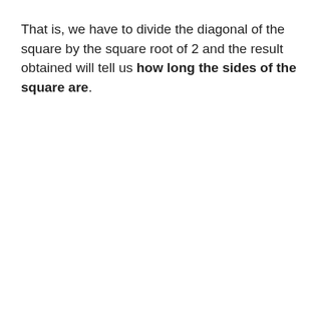That is, we have to divide the diagonal of the square by the square root of 2 and the result obtained will tell us how long the sides of the square are.